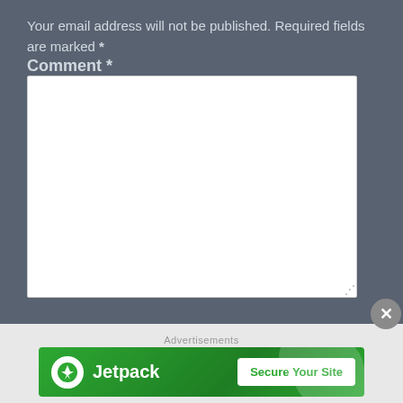Your email address will not be published. Required fields are marked *
Comment *
[Figure (screenshot): Empty white comment textarea input box with resize handle in bottom right corner]
[Figure (infographic): Jetpack advertisement banner with green background, Jetpack logo and icon on left, 'Secure Your Site' white button on right]
Advertisements